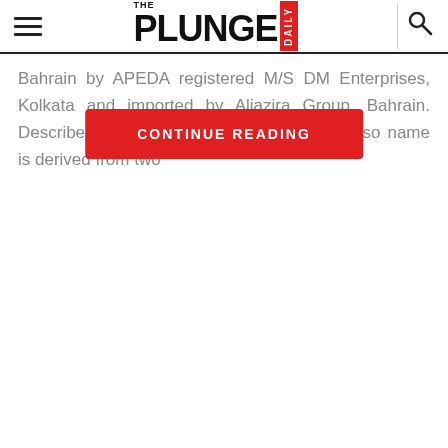THE PLUNGE DAILY
Bahrain by APEDA registered M/S DM Enterprises, Kolkata and imported by Aljazira Group, Bahrain. Described a... e traditional boond; the sweet also name is derived from two
[Figure (other): CONTINUE READING red button overlay]